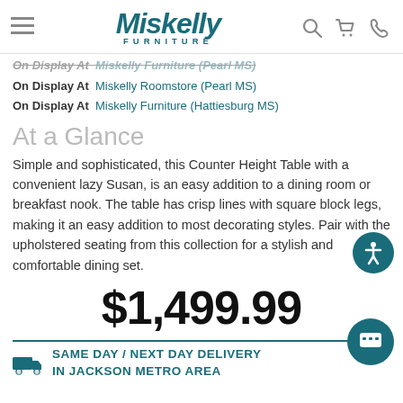Miskelly Furniture
On Display At  Miskelly Furniture (Pearl MS) [faded/strikethrough implied]
On Display At  Miskelly Roomstore (Pearl MS)
On Display At  Miskelly Furniture (Hattiesburg MS)
At a Glance
Simple and sophisticated, this Counter Height Table with a convenient lazy Susan, is an easy addition to a dining room or breakfast nook. The table has crisp lines with square block legs, making it an easy addition to most decorating styles. Pair with the upholstered seating from this collection for a stylish and comfortable dining set.
$1,499.99
SAME DAY / NEXT DAY DELIVERY IN JACKSON METRO AREA